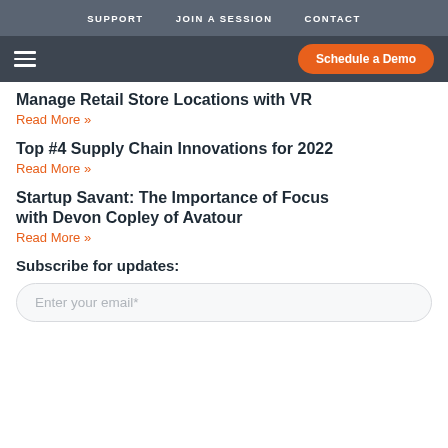SUPPORT   JOIN A SESSION   CONTACT
Schedule a Demo
Manage Retail Store Locations with VR
Read More »
Top #4 Supply Chain Innovations for 2022
Read More »
Startup Savant: The Importance of Focus with Devon Copley of Avatour
Read More »
Subscribe for updates:
Enter your email*